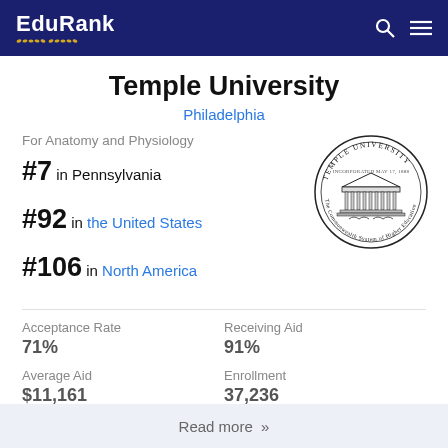EduRank
Temple University
Philadelphia
For Anatomy and Physiology
#7 in Pennsylvania
#92 in the United States
#106 in North America
[Figure (logo): Temple University circular seal with building illustration and text 'TEMPLE UNIVERSITY' and 'The Commonwealth System of Higher Education']
Acceptance Rate
71%
Receiving Aid
91%
Average Aid
$11,161
Enrollment
37,236
Read more »